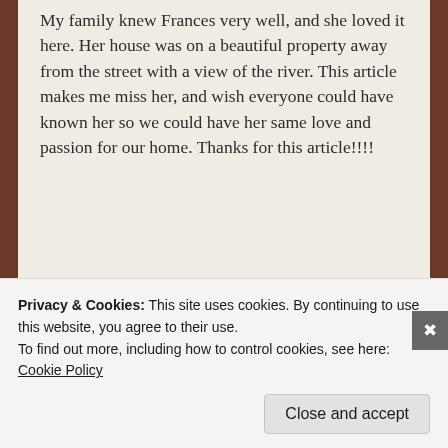My family knew Frances very well, and she loved it here. Her house was on a beautiful property away from the street with a view of the river. This article makes me miss her, and wish everyone could have known her so we could have her same love and passion for our home. Thanks for this article!!!!
★ Like
Reply
Privacy & Cookies: This site uses cookies. By continuing to use this website, you agree to their use.
To find out more, including how to control cookies, see here: Cookie Policy
Close and accept